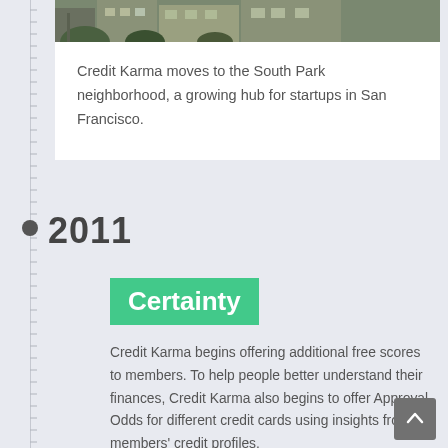[Figure (photo): Photo of Credit Karma's South Park neighborhood office building exterior]
Credit Karma moves to the South Park neighborhood, a growing hub for startups in San Francisco.
2011
Certainty
Credit Karma begins offering additional free scores to members. To help people better understand their finances, Credit Karma also begins to offer Approval Odds for different credit cards using insights from members' credit profiles.